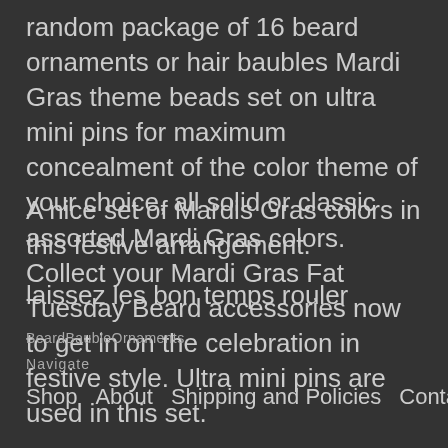random package of 16 beard ornaments or hair baubles Mardi Gras theme beads set on ultra mini pins for maximum concealment of the color theme of your choice, all solid or classic assorted Mardi Gras colors. Collect your Mardi Gras Fat Tuesday Beard accessories now to get in on the celebration in festive style. Ultra mini pins are used in this set.
A nice set of Mardis Gras colors in this festive arrangement.
laissez les bon temps rouler
BeardBaubleOrnaments
Navigate
Shop   About   Shipping and Policies   Contact us